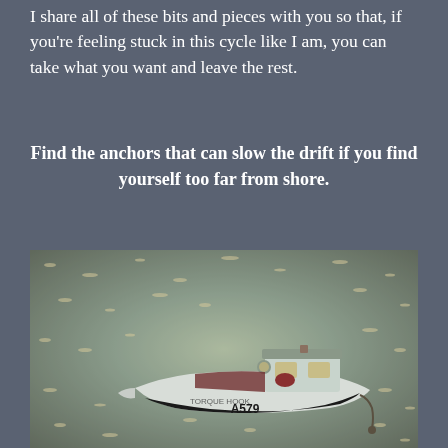I share all of these bits and pieces with you so that, if you're feeling stuck in this cycle like I am, you can take what you want and leave the rest.
Find the anchors that can slow the drift if you find yourself too far from shore.
[Figure (photo): A small white fishing boat with registration number A579 anchored on calm water, shot in warm sepia/golden tones.]